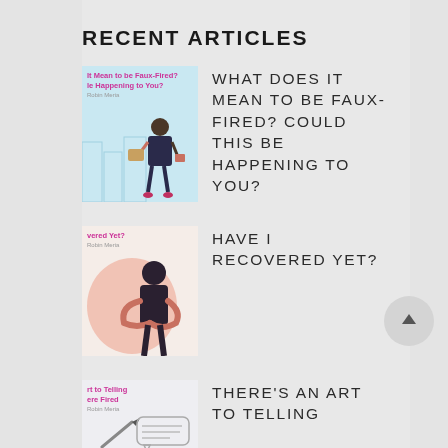RECENT ARTICLES
[Figure (illustration): Thumbnail image for article about Faux-Fired, showing a woman walking with a box, light blue background, with pink/magenta article title text]
WHAT DOES IT MEAN TO BE FAUX-FIRED? COULD THIS BE HAPPENING TO YOU?
[Figure (illustration): Thumbnail image for article Have I Recovered Yet, showing a woman hugging herself with pink abstract shape, light background]
HAVE I RECOVERED YET?
[Figure (illustration): Thumbnail image for article There's an Art to Telling You're Fired, partially visible, showing speech bubble illustration]
THERE'S AN ART TO TELLING